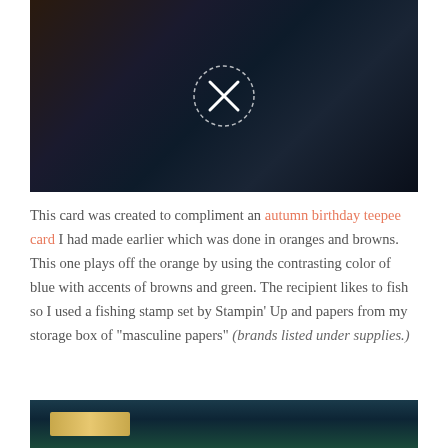[Figure (photo): Dark blurred photo with a circular X close button overlay in the center, showing dark browns, blues, and greens.]
This card was created to compliment an autumn birthday teepee card I had made earlier which was done in oranges and browns.  This one plays off the orange by using the contrasting color of blue with accents of browns and green. The recipient likes to fish so I used a fishing stamp set by Stampin’ Up and papers from my storage box of "masculine papers" (brands listed under supplies.)
[Figure (photo): Bottom partial photo showing a teal/dark blue background with a gold rectangular element visible.]